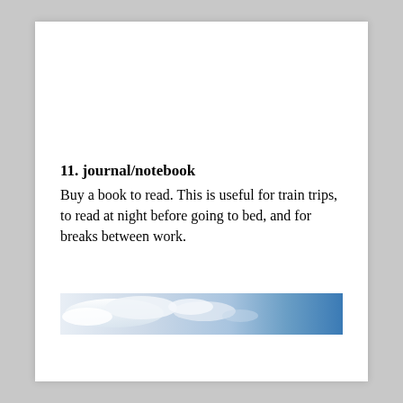11. journal/notebook
Buy a book to read. This is useful for train trips, to read at night before going to bed, and for breaks between work.
[Figure (photo): A horizontal strip photo showing a sky with clouds, transitioning from white/light on the left to blue on the right.]